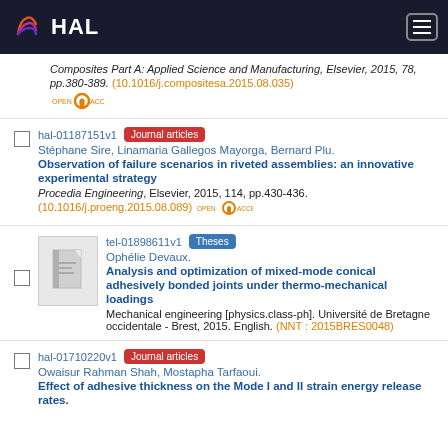HAL
Composites Part A: Applied Science and Manufacturing, Elsevier, 2015, 78, pp.380-389. (10.1016/j.compositesa.2015.08.035)
hal-01187151v1 | Journal articles | Stéphane Sire, Linamaria Gallegos Mayorga, Bernard Plu. Observation of failure scenarios in riveted assemblies: an innovative experimental strategy. Procedia Engineering, Elsevier, 2015, 114, pp.430-436. (10.1016/j.proeng.2015.08.089)
tel-01898611v1 | Theses | Ophélie Devaux. Analysis and optimization of mixed-mode conical adhesively bonded joints under thermo-mechanical loadings. Mechanical engineering [physics.class-ph]. Université de Bretagne occidentale - Brest, 2015. English. (NNT : 2015BRES0048)
hal-01710220v1 | Journal articles | Owaisur Rahman Shah, Mostapha Tarfaoui. Effect of adhesive thickness on the Mode I and II strain energy release rates.